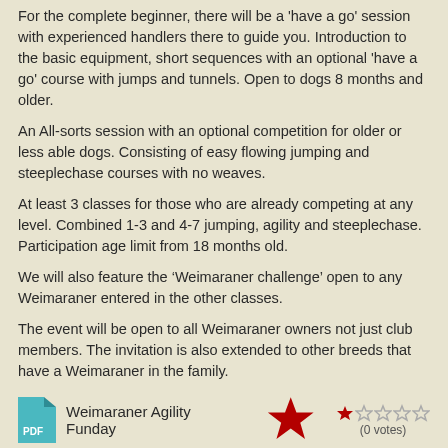For the complete beginner, there will be a 'have a go' session with experienced handlers there to guide you. Introduction to the basic equipment, short sequences with an optional 'have a go' course with jumps and tunnels. Open to dogs 8 months and older.
An All-sorts session with an optional competition for older or less able dogs. Consisting of easy flowing jumping and steeplechase courses with no weaves.
At least 3 classes for those who are already competing at any level. Combined 1-3 and 4-7 jumping, agility and steeplechase. Participation age limit from 18 months old.
We will also feature the ‘Weimaraner challenge’ open to any Weimaraner entered in the other classes.
The event will be open to all Weimaraner owners not just club members. The invitation is also extended to other breeds that have a Weimaraner in the family.
Weimaraner Agility Funday
(0 votes)
Sunday 23rd October 2022 CV23 0PL
Friday, 27 May 2022 10:17    1.08 MB    40